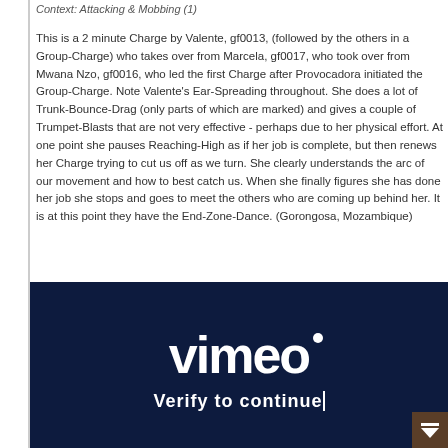Context: Attacking & Mobbing (1)
This is a 2 minute Charge by Valente, gf0013, (followed by the others in a Group-Charge) who takes over from Marcela, gf0017, who took over from Mwana Nzo, gf0016, who led the first Charge after Provocadora initiated the Group-Charge. Note Valente's Ear-Spreading throughout. She does a lot of Trunk-Bounce-Drag (only parts of which are marked) and gives a couple of Trumpet-Blasts that are not very effective - perhaps due to her physical effort. At one point she pauses Reaching-High as if her job is complete, but then renews her Charge trying to cut us off as we turn. She clearly understands the arc of our movement and how to best catch us. When she finally figures she has done her job she stops and goes to meet the others who are coming up behind her. It is at this point they have the End-Zone-Dance. (Gorongosa, Mozambique)
[Figure (screenshot): Vimeo video embed with dark navy background showing the Vimeo logo and 'Verify to continue' text partially visible at the bottom]